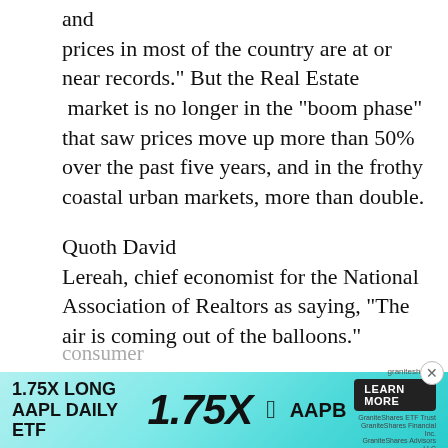and prices in most of the country are at or near records." But the Real Estate  market is no longer in the "boom phase" that saw prices move up more than 50% over the past five years, and in the frothy coastal urban markets, more than double.
Quoth David Lereah, chief economist for the National Association of Realtors as saying, "The air is coming out of the balloons."
The key macro impact will be the end of the home equity extraction as a source of
consumer sper ... has been ... vity in the US. It accounts for "one-third of
[Figure (other): Advertisement banner for 1.75X Long AAPL Daily ETF (AAPB) by Graniteshares with a Learn More button]